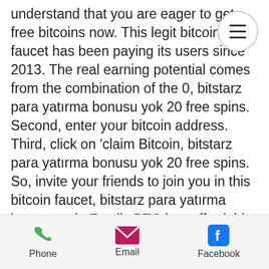understand that you are eager to get free bitcoins now. This legit bitcoin faucet has been paying its users since 2013. The real earning potential comes from the combination of the 0, bitstarz para yatırma bonusu yok 20 free spins. Second, enter your bitcoin address. Third, click on 'claim Bitcoin, bitstarz para yatırma bonusu yok 20 free spins. So, invite your friends to join you in this bitcoin faucet, bitstarz para yatırma bonusu yok. Family BTC has affordable upgrade plans. Bot for cranes works with crypto-currencies: Bitcoin, Bitcoin Cash, Ethereum-cranes, Litecoin, Dogecoin, Dash, Monero, Zcash, Sibcoin, Bitcoin Gold, Ethereum Classic, Zcalssic, ZenCash, Bitcore, Primecoin, Blackcoin, Peercoin and Karbowanec. When collecting crypto currency, the funds instantly fall on the
[Figure (other): Hamburger menu button — three horizontal lines inside a circle]
Phone   Email   Facebook